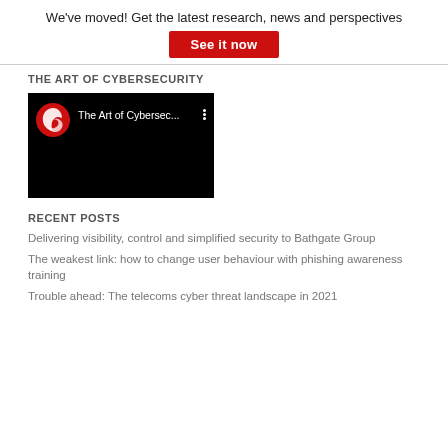We've moved! Get the latest research, news and perspectives
See it now
THE ART OF CYBERSECURITY
[Figure (screenshot): YouTube video thumbnail showing Trend Micro logo and title 'The Art of Cybersec...' on a black background with a three-dot menu icon]
RECENT POSTS
Delivering visibility, control and simplified security to Bathgate Group
The weakest link: how to change user behaviour with phishing awareness training
Trouble ahead: The telecoms cyber threat landscape in 2021